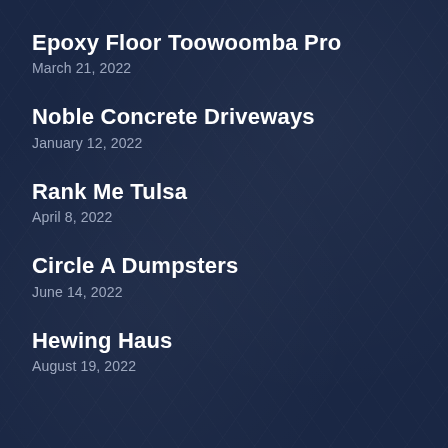Epoxy Floor Toowoomba Pro
March 21, 2022
Noble Concrete Driveways
January 12, 2022
Rank Me Tulsa
April 8, 2022
Circle A Dumpsters
June 14, 2022
Hewing Haus
August 19, 2022